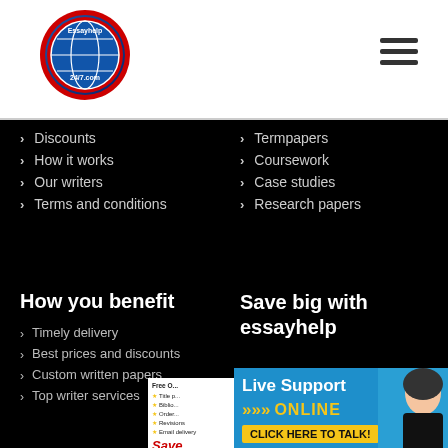[Figure (logo): EssayHelp 24/7.com circular logo with globe on red background]
[Figure (other): Hamburger menu icon with three horizontal lines]
Discounts
Termpapers
How it works
Coursework
Our writers
Case studies
Terms and conditions
Research papers
How you benefit
Save big with essayhelp
Timely delivery
Best prices and discounts
Custom written papers
Top writer services
[Figure (screenshot): Essay preview showing free items list with star icons, Save $65 text in red and green]
[Figure (other): Live Support banner with blue background, yellow arrows, ONLINE text, CLICK HERE TO TALK button, and woman photo]